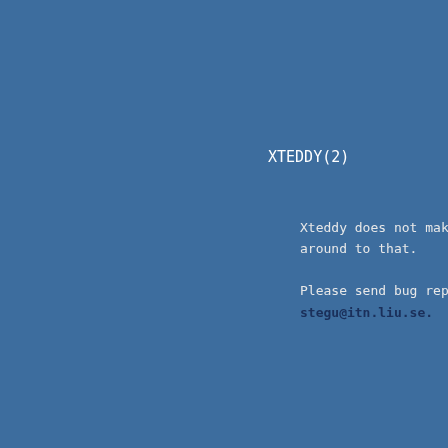XTEDDY(2)
Xteddy does not mak around to that.

Please send bug rep stegu@itn.liu.se.